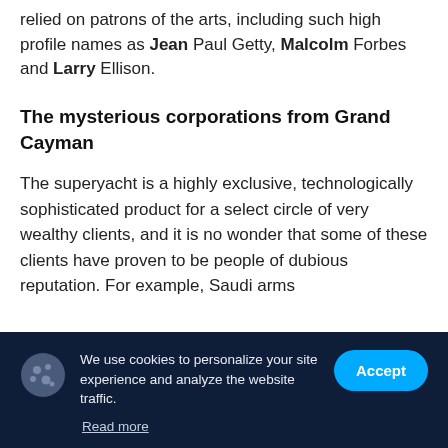relied on patrons of the arts, including such high profile names as Jean Paul Getty, Malcolm Forbes and Larry Ellison.
The mysterious corporations from Grand Cayman
The superyacht is a highly exclusive, technologically sophisticated product for a select circle of very wealthy clients, and it is no wonder that some of these clients have proven to be people of dubious reputation. For example, Saudi arms
We use cookies to personalize your site experience and analyze the website traffic.
Read more